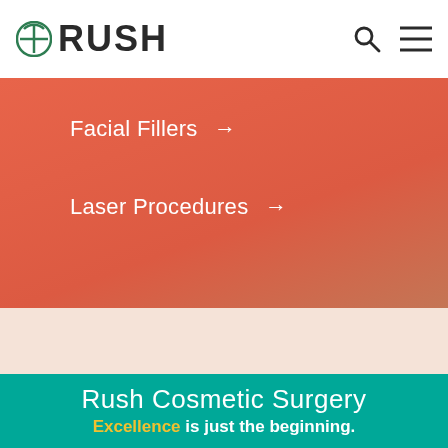RUSH
Facial Fillers →
Laser Procedures →
Rush Cosmetic Surgery
Excellence is just the beginning.